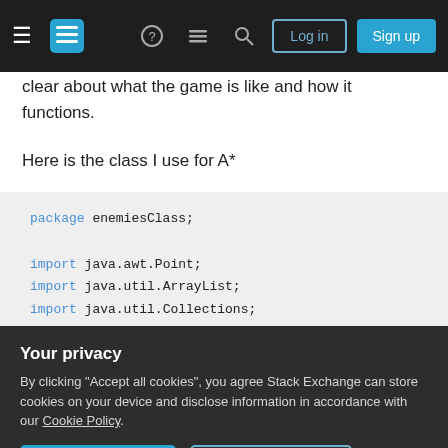Stack Exchange navigation bar with Log in and Sign up buttons
clear about what the game is like and how it functions.
Here is the class I use for A*
[Figure (screenshot): Code block showing Java package and import statements: package enemiesClass; import java.awt.Point; import java.util.ArrayList; import java.util.Collections; import java.util.Comparator; import java.util.HashSet; import java.util.PriorityQueue;]
Your privacy
By clicking "Accept all cookies", you agree Stack Exchange can store cookies on your device and disclose information in accordance with our Cookie Policy.
Accept all cookies  Customize settings
private MapMain.nodeStart;//starting ti